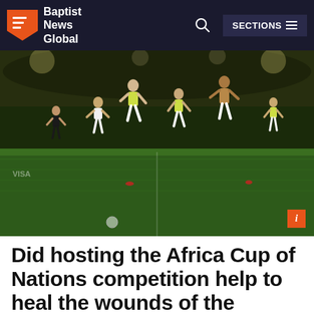Baptist News Global — SECTIONS
[Figure (photo): Football players celebrating on the field, some wearing yellow/green bibs, others in white uniforms, jumping and cheering after a match. Stadium crowd visible in background.]
Did hosting the Africa Cup of Nations competition help to heal the wounds of the Cameroonian crisis?
NEWS  ANTHONY AKAEZE | FEBRUARY 21, 2022